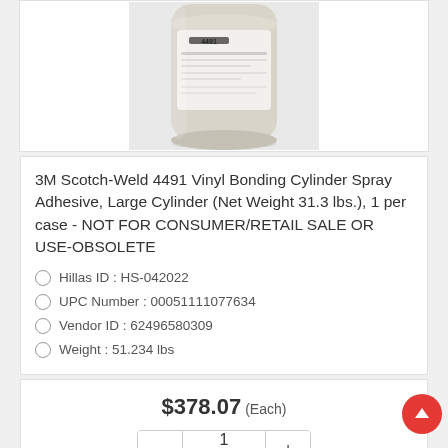[Figure (photo): Photo of a large white/cream cylindrical container of 3M Scotch-Weld 4491 adhesive, partially cropped at top.]
3M Scotch-Weld 4491 Vinyl Bonding Cylinder Spray Adhesive, Large Cylinder (Net Weight 31.3 lbs.), 1 per case - NOT FOR CONSUMER/RETAIL SALE OR USE-OBSOLETE
Hillas ID : HS-042022
UPC Number : 00051111077634
Vendor ID : 62496580309
Weight : 51.234 lbs
$378.07 (Each)
1